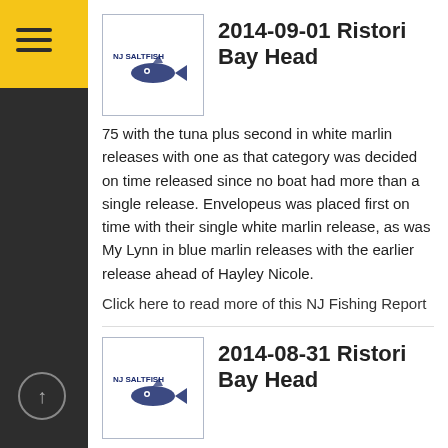2014-09-01 Ristori Bay Head
75 with the tuna plus second in white marlin releases with one as that category was decided on time released since no boat had more than a single release. Envelopeus was placed first on time with their single white marlin release, as was My Lynn in blue marlin releases with the earlier release ahead of Hayley Nicole.
Click here to read more of this NJ Fishing Report
2014-08-31 Ristori Bay Head
Dave Lilly of Hazlet completed a very successful fluke tournament season even though the 8. 95-pound fluke he boated Saturday was second in a Staten Island weekend contest to a 9.
Click here to read more of this NJ Fishing Report